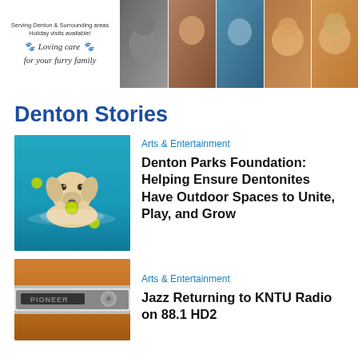[Figure (photo): Pet sitting service banner ad with text 'Serving Denton & Surrounding areas, Holiday visits available!' and 'Loving care for your furry family', plus pet photos]
Denton Stories
[Figure (photo): Golden retriever dog swimming in a pool with a tennis ball in its mouth]
Arts & Entertainment
Denton Parks Foundation: Helping Ensure Dentonites Have Outdoor Spaces to Unite, Play, and Grow
[Figure (photo): Close-up of a brown/orange vintage car radio or cassette player]
Arts & Entertainment
Jazz Returning to KNTU Radio on 88.1 HD2